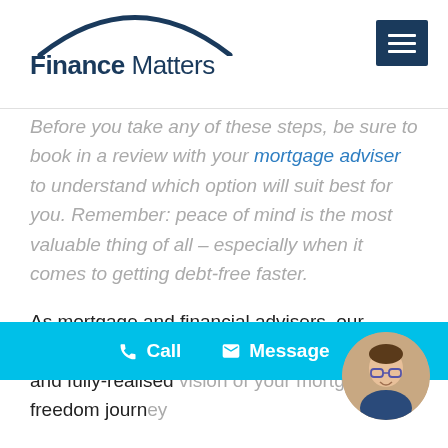Finance Matters
Before you take any of these steps, be sure to book in a review with your mortgage adviser to understand which option will suit best for you. Remember: peace of mind is the most valuable thing of all – especially when it comes to getting debt-free faster.
As mortgage and financial advisers, our combination of strengths gives us a unique and fully-realised vision of your mortgage freedom journey — more options to take towards your mortgage
[Figure (other): Cyan call-to-action bar with Call and Message buttons, and circular avatar photo of a man with glasses]